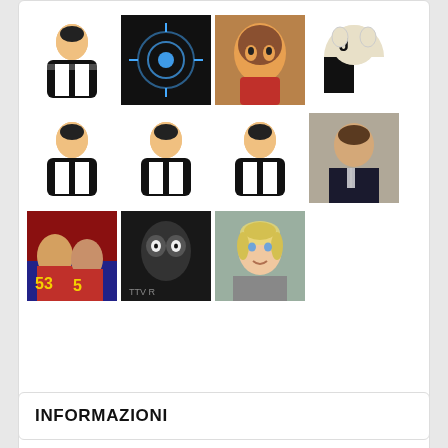[Figure (screenshot): Grid of user avatars: row 1 has referee icon, dark audio-waveform image, tiger-man photo, Juventus-themed animal; row 2 has three referee icons and a man in suit photo; row 3 has NFL players photo, dark owl-like image, blonde woman photo]
ABOUT STEBAL
[Figure (infographic): User rank badge showing referee icon in circle with 'UTENTE' label in grey]
Rank
Pulcino
●
INFORMAZIONI